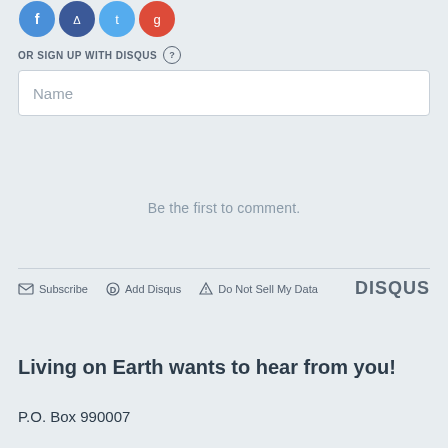[Figure (illustration): Social media circular icon buttons (blue, dark blue, light blue, red) for social login options]
OR SIGN UP WITH DISQUS ?
[Figure (screenshot): Name input text field with placeholder text 'Name']
Be the first to comment.
Subscribe  Add Disqus  Do Not Sell My Data  DISQUS
Living on Earth wants to hear from you!
P.O. Box 990007